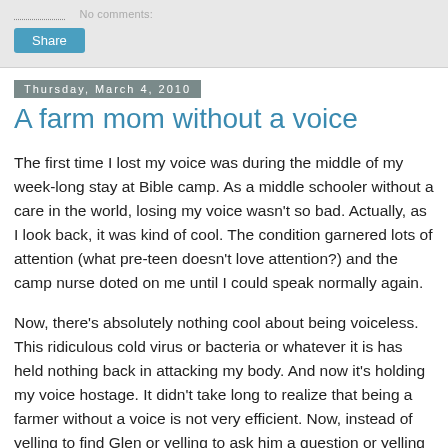Share
Thursday, March 4, 2010
A farm mom without a voice
The first time I lost my voice was during the middle of my week-long stay at Bible camp. As a middle schooler without a care in the world, losing my voice wasn't so bad. Actually, as I look back, it was kind of cool. The condition garnered lots of attention (what pre-teen doesn't love attention?) and the camp nurse doted on me until I could speak normally again.
Now, there's absolutely nothing cool about being voiceless. This ridiculous cold virus or bacteria or whatever it is has held nothing back in attacking my body. And now it's holding my voice hostage. It didn't take long to realize that being a farmer without a voice is not very efficient. Now, instead of yelling to find Glen or yelling to ask him a question or yelling at Dinah to get back to her spot, I have to actually look for